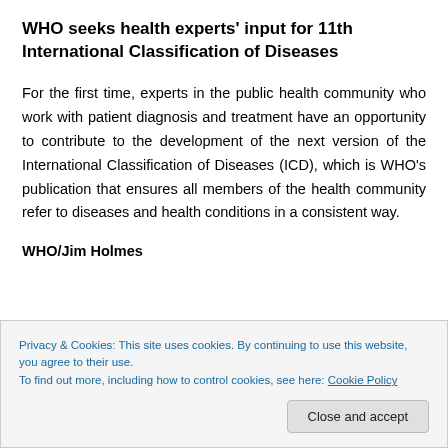WHO seeks health experts' input for 11th International Classification of Diseases
For the first time, experts in the public health community who work with patient diagnosis and treatment have an opportunity to contribute to the development of the next version of the International Classification of Diseases (ICD), which is WHO's publication that ensures all members of the health community refer to diseases and health conditions in a consistent way.
WHO/Jim Holmes
Privacy & Cookies: This site uses cookies. By continuing to use this website, you agree to their use.
To find out more, including how to control cookies, see here: Cookie Policy